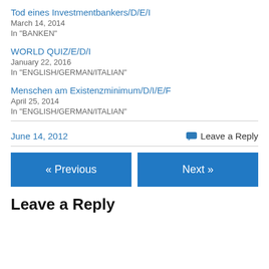Tod eines Investmentbankers/D/E/I
March 14, 2014
In "BANKEN"
WORLD QUIZ/E/D/I
January 22, 2016
In "ENGLISH/GERMAN/ITALIAN"
Menschen am Existenzminimum/D/I/E/F
April 25, 2014
In "ENGLISH/GERMAN/ITALIAN"
June 14, 2012
Leave a Reply
« Previous
Next »
Leave a Reply